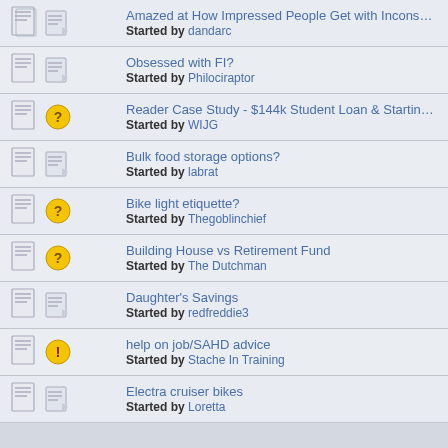Amazed at How Impressed People Get with Inconsequential Thing — Started by dandarc
Obsessed with FI? — Started by Philociraptor
Reader Case Study - $144k Student Loan & Starting New Life — Started by WIJG
Bulk food storage options? — Started by labrat
Bike light etiquette? — Started by Thegoblinchief
Building House vs Retirement Fund — Started by The Dutchman
Daughter's Savings — Started by redfreddie3
help on job/SAHD advice — Started by Stache In Training
Electra cruiser bikes — Started by Loretta